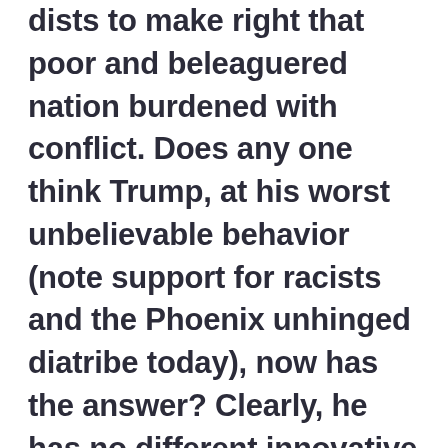dists to make right that poor and beleaguered nation burdened with conflict. Does any one think Trump, at his worst unbelievable behavior (note support for racists and the Phoenix unhinged diatribe today), now has the answer? Clearly, he has no different innovative ideas how to make peace in Afghanistan. And even worse, he has gutted our diplomatic capacity which might